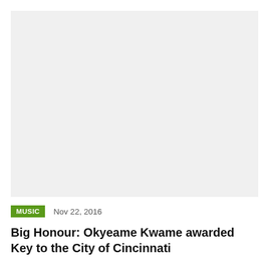[Figure (photo): Large image placeholder with light gray background, representing a photo for the article about Okyeame Kwame receiving the Key to the City of Cincinnati]
MUSIC   Nov 22, 2016
Big Honour: Okyeame Kwame awarded Key to the City of Cincinnati